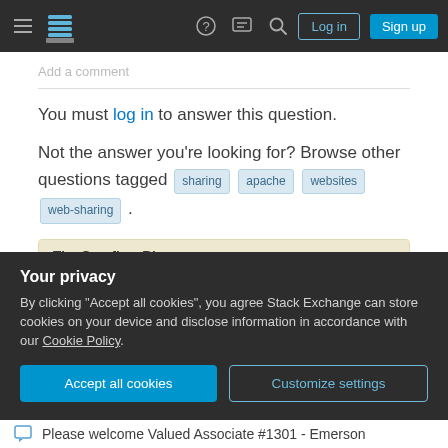Navigation bar with Stack Exchange logo, Log in, Sign up buttons
Add a comment
You must log in to answer this question.
Not the answer you're looking for? Browse other questions tagged sharing apache websites web-sharing .
The Overflow Blog
The last technical interview you'll ever take (Ep. 474)
Combining the best of engineering cultures from Silicon
Your privacy
By clicking "Accept all cookies", you agree Stack Exchange can store cookies on your device and disclose information in accordance with our Cookie Policy.
Accept all cookies
Customize settings
Please welcome Valued Associate #1301 - Emerson